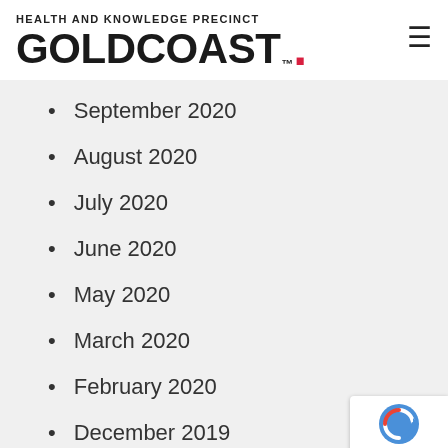HEALTH AND KNOWLEDGE PRECINCT GOLDCOAST.™
September 2020
August 2020
July 2020
June 2020
May 2020
March 2020
February 2020
December 2019